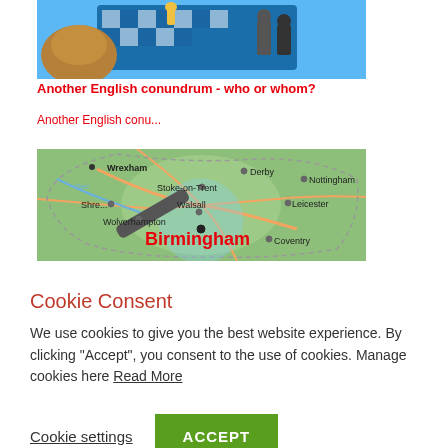[Figure (illustration): Chess illustration showing chess pieces on a board with cartoon figures]
Another English conundrum - who or whom?
Another English conu...
[Figure (map): Map of Midlands England showing cities including Birmingham, Wolverhampton, Walsall, Coventry, Leicester, Nottingham, Derby, Stoke-on-Trent, Shrewsbury, Wrexham with a magnifying glass overlay]
Cookie Consent
We use cookies to give you the best website experience. By clicking “Accept”, you consent to the use of cookies. Manage cookies here Read More
Cookie settings
ACCEPT